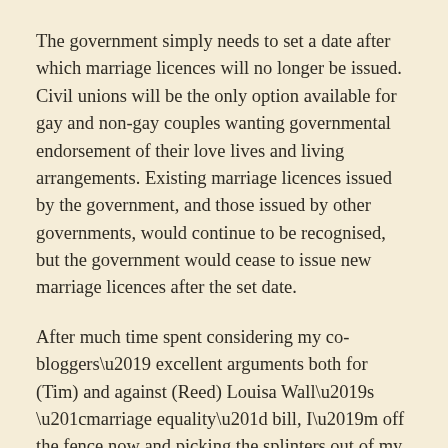The government simply needs to set a date after which marriage licences will no longer be issued. Civil unions will be the only option available for gay and non-gay couples wanting governmental endorsement of their love lives and living arrangements. Existing marriage licences issued by the government, and those issued by other governments, would continue to be recognised, but the government would cease to issue new marriage licences after the set date.
After much time spent considering my co-bloggers' excellent arguments both for (Tim) and against (Reed) Louisa Wall's “marriage equality” bill, I’m off the fence now and picking the splinters out of my scrotum. I’m for marriage equality and against Wall’s bill.